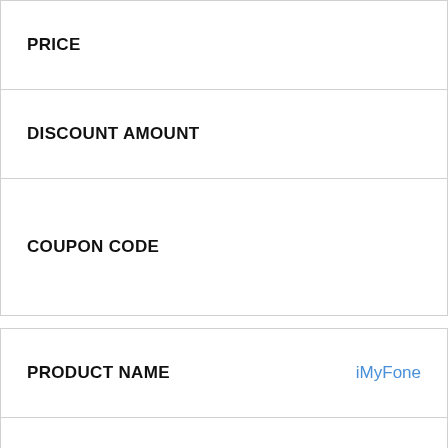| PRICE |  |
| DISCOUNT AMOUNT |  |
| COUPON CODE |  |
| PRODUCT NAME | iMyFone |
| PRICE |  |
| DISCOUNT AMOUNT |  |
| COUPON CODE |  |